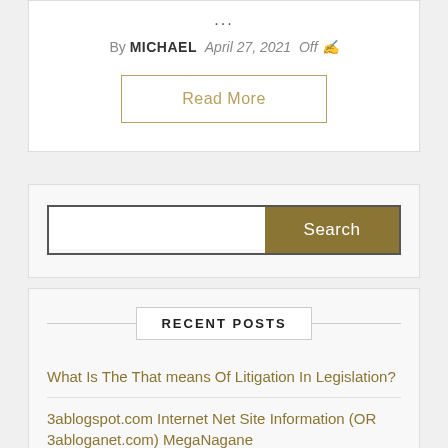...
By MICHAEL  April 27, 2021  Off
Read More
Search
RECENT POSTS
What Is The That means Of Litigation In Legislation?
3ablogspot.com Internet Net Site Information (OR 3abloganet.com) MegaNagane